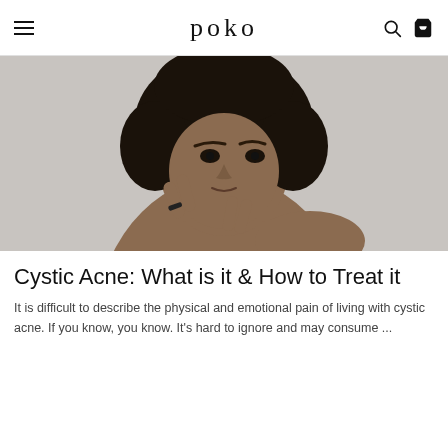poko
[Figure (photo): A Black woman with natural curly hair touching her cheek/chin area with two fingers, appearing concerned about her skin, on a grey background.]
Cystic Acne: What is it & How to Treat it
It is difficult to describe the physical and emotional pain of living with cystic acne. If you know, you know. It's hard to ignore and may consume ...